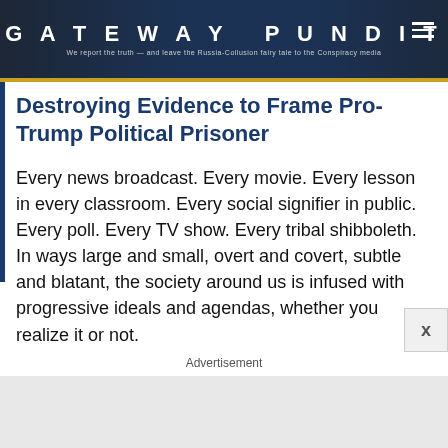GATEWAY PUNDIT — We report the truth — and leave the Russia-Collusion fairy tale to the Conspiracy media
Destroying Evidence to Frame Pro-Trump Political Prisoner
Every news broadcast. Every movie. Every lesson in every classroom. Every social signifier in public. Every poll. Every TV show. Every tribal shibboleth. In ways large and small, overt and covert, subtle and blatant, the society around us is infused with progressive ideals and agendas, whether you realize it or not.
Advertisement